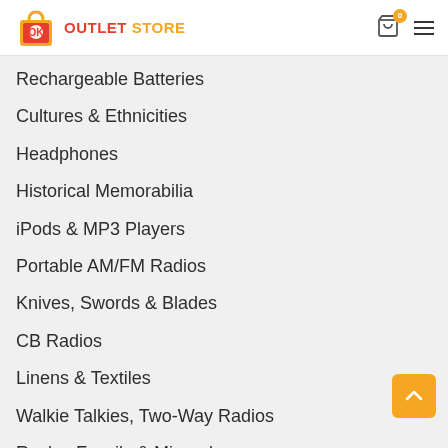Outlet Store
Rechargeable Batteries
Cultures & Ethnicities
Headphones
Historical Memorabilia
iPods & MP3 Players
Portable AM/FM Radios
Knives, Swords & Blades
CB Radios
Linens & Textiles
Walkie Talkies, Two-Way Radios
Rocks, Fossils & Minerals
Information